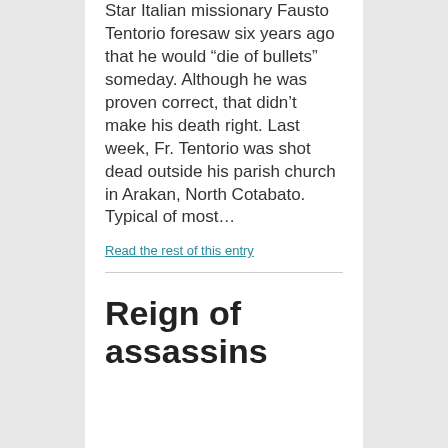Star Italian missionary Fausto Tentorio foresaw six years ago that he would “die of bullets” someday. Although he was proven correct, that didn’t make his death right. Last week, Fr. Tentorio was shot dead outside his parish church in Arakan, North Cotabato. Typical of most…
Read the rest of this entry
Reign of assassins